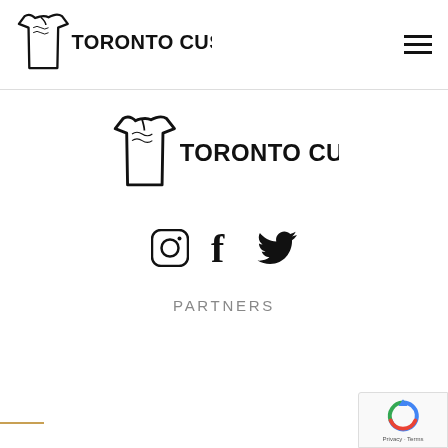Toronto Custom T-Shirt (logo + hamburger menu)
[Figure (logo): Toronto Custom T-Shirt logo: stylized t-shirt figure on left with bold condensed text 'TORONTO CUSTOM T-SHIRT']
[Figure (logo): Toronto Custom T-Shirt logo repeated in main content area]
[Figure (infographic): Social media icons: Instagram circle icon, Facebook 'f' icon, Twitter bird icon]
PARTNERS
[Figure (logo): Google reCAPTCHA badge bottom right corner with Privacy and Terms links]